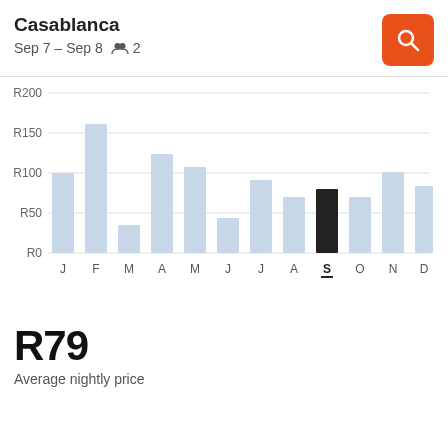Casablanca
Sep 7 – Sep 8    2
[Figure (bar-chart): Average nightly price by month]
R79
Average nightly price